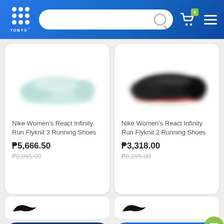[Figure (screenshot): Tobys sports store app header with logo, search bar, cart icon showing 0 items, and menu icon on blue gradient background]
[Figure (photo): Nike Women's React Infinity Run Flyknit 3 Running Shoes - light gray/mint colorway, blurred product photo]
Nike Women's React Infinity Run Flyknit 3 Running Shoes
₱5,666.50
₱8,095.00
[Figure (photo): Nike Women's React Infinity Run Flyknit 2 Running Shoes - black/red colorway, blurred product photo]
Nike Women's React Infinity Run Flyknit 2 Running Shoes
₱3,318.00
₱8,295.00
[Figure (logo): Nike swoosh logo]
[Figure (logo): Nike swoosh logo]
ADD TO CART
BUY NOW